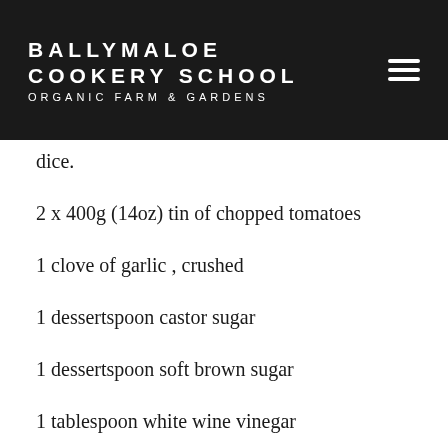BALLYMALOE COOKERY SCHOOL ORGANIC FARM & GARDENS
dice.
2 x 400g (14oz) tin of chopped tomatoes
1 clove of garlic , crushed
1 dessertspoon castor sugar
1 dessertspoon soft brown sugar
1 tablespoon white wine vinegar
salt and freshly ground pepper
2 tablepsoons water